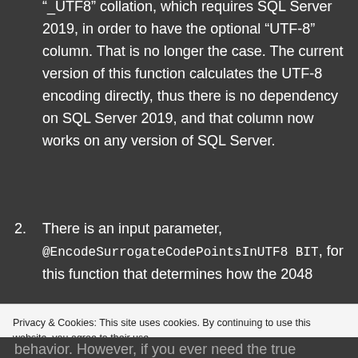"_UTF8" collation, which requires SQL Server 2019, in order to have the optional "UTF-8" column. That is no longer the case. The current version of this function calculates the UTF-8 encoding directly, thus there is no dependency on SQL Server 2019, and that column now works on any version of SQL Server.
2. There is an input parameter, @EncodeSurrogateCodePointsInUTF8 BIT, for this function that determines how the 2048
Privacy & Cookies: This site uses cookies. By continuing to use this website, you agree to their use.
To find out more, including how to control cookies, see here: Our Cookie Policy
Close and accept
behavior. However, if you ever need the true